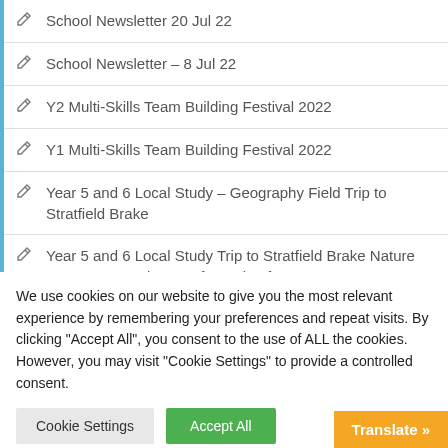School Newsletter 20 Jul 22
School Newsletter – 8 Jul 22
Y2 Multi-Skills Team Building Festival 2022
Y1 Multi-Skills Team Building Festival 2022
Year 5 and 6 Local Study – Geography Field Trip to Stratfield Brake
Year 5 and 6 Local Study Trip to Stratfield Brake Nature Reserve – 4 Jul 22 – Information for Parents
We use cookies on our website to give you the most relevant experience by remembering your preferences and repeat visits. By clicking "Accept All", you consent to the use of ALL the cookies. However, you may visit "Cookie Settings" to provide a controlled consent.
Cookie Settings | Accept All
Translate »